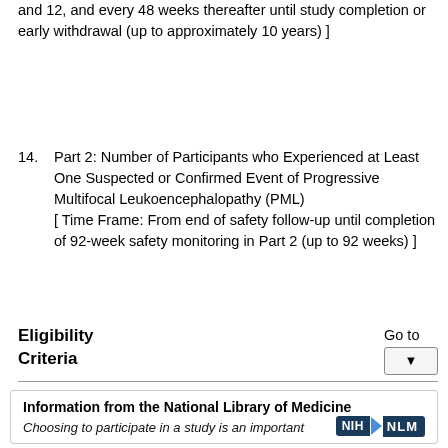and 12, and every 48 weeks thereafter until study completion or early withdrawal (up to approximately 10 years) ]
14. Part 2: Number of Participants who Experienced at Least One Suspected or Confirmed Event of Progressive Multifocal Leukoencephalopathy (PML) [ Time Frame: From end of safety follow-up until completion of 92-week safety monitoring in Part 2 (up to 92 weeks) ]
Eligibility Criteria
Go to
Information from the National Library of Medicine
Choosing to participate in a study is an important